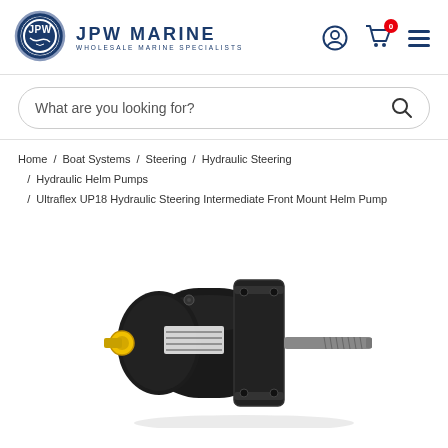[Figure (logo): JPW Marine logo - circular badge with anchor/rope design in blue and white, with 'JPW' text]
JPW MARINE
WHOLESALE MARINE SPECIALISTS
What are you looking for?
Home / Boat Systems / Steering / Hydraulic Steering / Hydraulic Helm Pumps / Ultraflex UP18 Hydraulic Steering Intermediate Front Mount Helm Pump
[Figure (photo): Ultraflex UP18 Hydraulic Steering Intermediate Front Mount Helm Pump - black cylindrical hydraulic pump with yellow fitting on the left end and a threaded shaft on the right, mounted with a flange bracket]